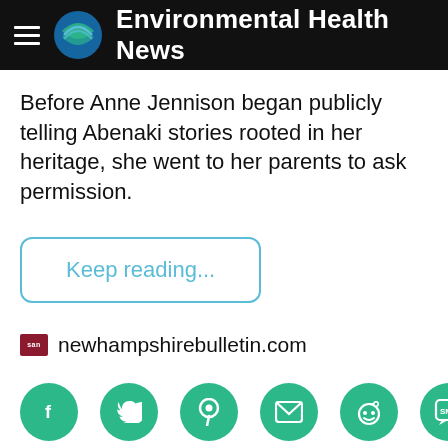Environmental Health News
Before Anne Jennison began publicly telling Abenaki stories rooted in her heritage, she went to her parents to ask permission.
Keep reading...
newhampshirebulletin.com
[Figure (infographic): Row of six green circular social share buttons: Facebook, Twitter, Pinterest, Email, Reddit, SMS]